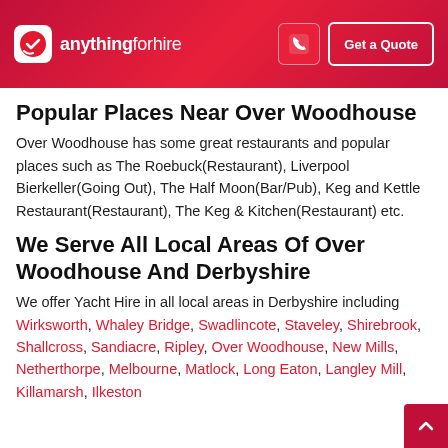anythingforhire — Get a Quote
Popular Places Near Over Woodhouse
Over Woodhouse has some great restaurants and popular places such as The Roebuck(Restaurant), Liverpool Bierkeller(Going Out), The Half Moon(Bar/Pub), Keg and Kettle Restaurant(Restaurant), The Keg & Kitchen(Restaurant) etc.
We Serve All Local Areas Of Over Woodhouse And Derbyshire
We offer Yacht Hire in all local areas in Derbyshire including Wirksworth, Whaley Bridge, Swadlincote, Staveley, Shirebrook, Shallcross, Sandiacre, Ripley, Over Woodhouse, New Mills, Netherthorpe, Melbourne, Matlock, Long Eaton, Langley Mill, Killamarsh, Ilkeston